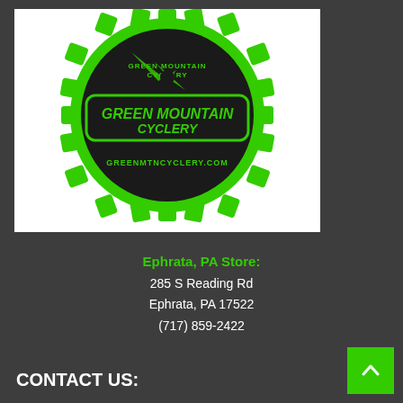[Figure (logo): Green Mountain Cyclery logo: a large green gear/cog shape with a black interior, featuring mountain peaks silhouette at top with 'GREEN MOUNTAIN CYCLERY' text inside a black rounded rectangle banner, and 'GREENMTNCYCLERY.COM' text below the banner, all in green on black background.]
Ephrata, PA Store:
285 S Reading Rd
Ephrata, PA 17522
(717) 859-2422
CONTACT US: